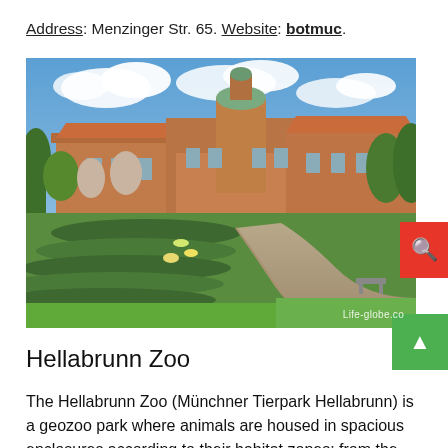Address: Menzinger Str. 65. Website: botmuc.
[Figure (photo): Outdoor photo of a botanical garden with trimmed hedges and winding path, large historic building with red roof and domed tower in background, blue sky with clouds. Watermark: Life-globe.co]
Hellabrunn Zoo
The Hellabrunn Zoo (Münchner Tierpark Hellabrunn) is a geozoo park where animals are housed in spacious enclosures according to their habitat zones: from the Arctic Circle to Africa